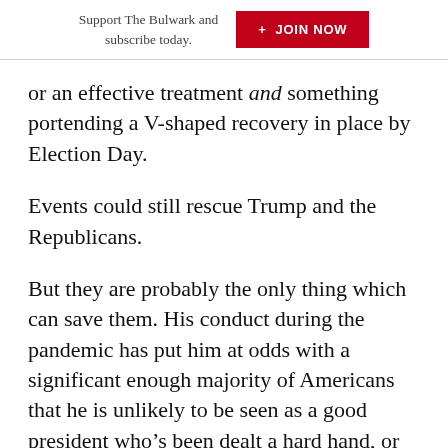Support The Bulwark and subscribe today. + JOIN NOW
or an effective treatment and something portending a V-shaped recovery in place by Election Day.
Events could still rescue Trump and the Republicans.
But they are probably the only thing which can save them. His conduct during the pandemic has put him at odds with a significant enough majority of Americans that he is unlikely to be seen as a good president who’s been dealt a hard hand, or given the benefit of the doubt.